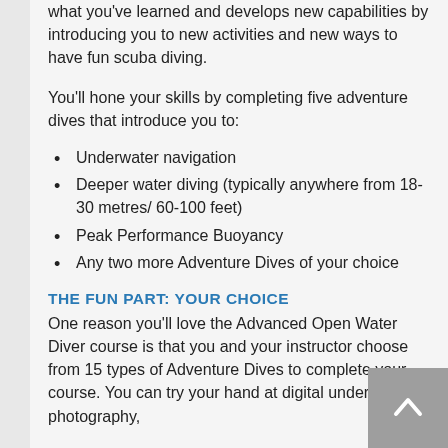what you've learned and develops new capabilities by introducing you to new activities and new ways to have fun scuba diving.
You'll hone your skills by completing five adventure dives that introduce you to:
Underwater navigation
Deeper water diving (typically anywhere from 18-30 metres/ 60-100 feet)
Peak Performance Buoyancy
Any two more Adventure Dives of your choice
THE FUN PART: YOUR CHOICE
One reason you'll love the Advanced Open Water Diver course is that you and your instructor choose from 15 types of Adventure Dives to complete your course. You can try your hand at digital underwater photography,